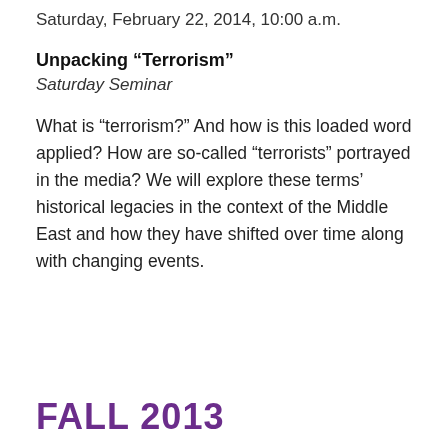Saturday, February 22, 2014, 10:00 a.m.
Unpacking "Terrorism"
Saturday Seminar
What is “terrorism?” And how is this loaded word applied? How are so-called “terrorists” portrayed in the media? We will explore these terms’ historical legacies in the context of the Middle East and how they have shifted over time along with changing events.
FALL 2013